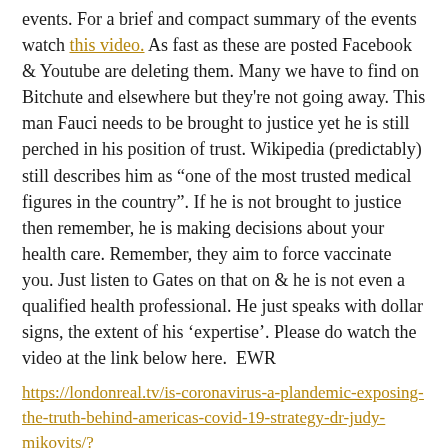events. For a brief and compact summary of the events watch this video. As fast as these are posted Facebook & Youtube are deleting them. Many we have to find on Bitchute and elsewhere but they're not going away. This man Fauci needs to be brought to justice yet he is still perched in his position of trust. Wikipedia (predictably) still describes him as “one of the most trusted medical figures in the country”. If he is not brought to justice then remember, he is making decisions about your health care. Remember, they aim to force vaccinate you. Just listen to Gates on that on & he is not even a qualified health professional. He just speaks with dollar signs, the extent of his ‘expertise’. Please do watch the video at the link below here.  EWR
https://londonreal.tv/is-coronavirus-a-plandemic-exposing-the-truth-behind-americas-covid-19-strategy-dr-judy-mikovits/?utm_source=drip&utm_medium=email&utm_campaign=2020-05